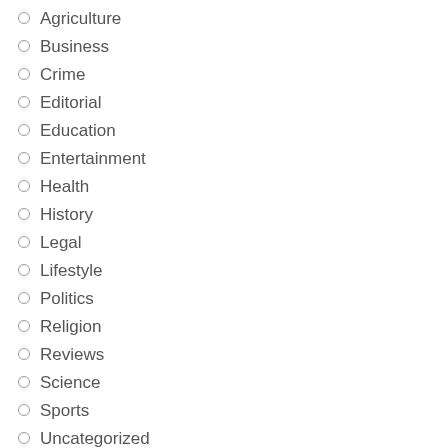Agriculture
Business
Crime
Editorial
Education
Entertainment
Health
History
Legal
Lifestyle
Politics
Religion
Reviews
Science
Sports
Uncategorized
US